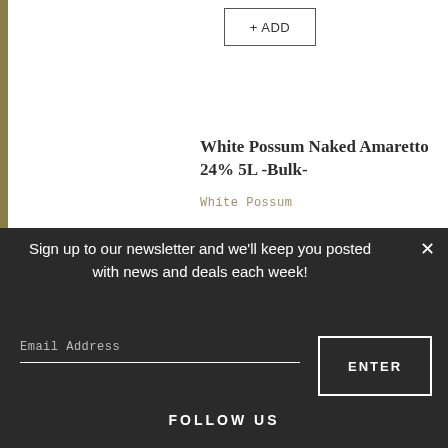+ ADD
White Possum Naked Amaretto 24% 5L -Bulk-
White Possum
Sign up to our newsletter and we'll keep you posted with news and deals each week!
Email Address
ENTER
FOLLOW US